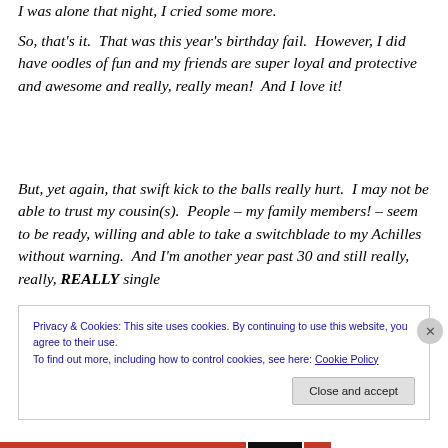I was alone that night, I cried some more.
So, that's it.  That was this year's birthday fail.  However, I did have oodles of fun and my friends are super loyal and protective and awesome and really, really mean!  And I love it!
But, yet again, that swift kick to the balls really hurt.  I may not be able to trust my cousin(s).  People – my family members! – seem to be ready, willing and able to take a switchblade to my Achilles without warning.  And I'm another year past 30 and still really, really, REALLY single
Privacy & Cookies: This site uses cookies. By continuing to use this website, you agree to their use.
To find out more, including how to control cookies, see here: Cookie Policy

Close and accept